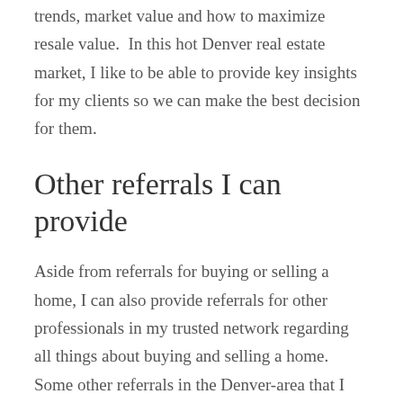trends, market value and how to maximize resale value.  In this hot Denver real estate market, I like to be able to provide key insights for my clients so we can make the best decision for them.
Other referrals I can provide
Aside from referrals for buying or selling a home, I can also provide referrals for other professionals in my trusted network regarding all things about buying and selling a home.  Some other referrals in the Denver-area that I can provide include:
Transaction related (IE: lenders, legal professionals, title and closing agents, home